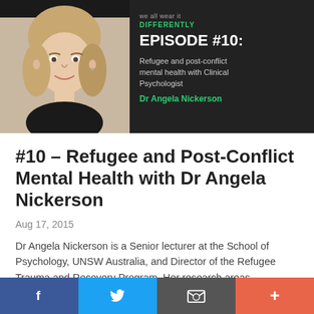[Figure (photo): Podcast episode banner with photo of Dr Angela Nickerson (woman with blonde hair, smiling) on dark background. Text reads: we all wear it DIFFERENTLY, EPISODE #10: Refugee and post-conflict mental health with Clinical Psychologist Dr Angela Nickerson]
#10 – Refugee and Post-Conflict Mental Health with Dr Angela Nickerson
Aug 17, 2015
Dr Angela Nickerson is a Senior lecturer at the School of Psychology, UNSW Australia, and Director of the Refugee Trauma and Recovery Program. Her research areas